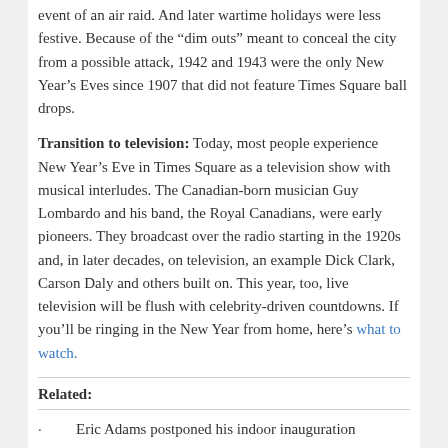event of an air raid. And later wartime holidays were less festive. Because of the “dim outs” meant to conceal the city from a possible attack, 1942 and 1943 were the only New Year’s Eves since 1907 that did not feature Times Square ball drops.
Transition to television: Today, most people experience New Year’s Eve in Times Square as a television show with musical interludes. The Canadian-born musician Guy Lombardo and his band, the Royal Canadians, were early pioneers. They broadcast over the radio starting in the 1920s and, in later decades, on television, an example Dick Clark, Carson Daly and others built on. This year, too, live television will be flush with celebrity-driven countdowns. If you’ll be ringing in the New Year from home, here’s what to watch.
Related:
Eric Adams postponed his indoor inauguration